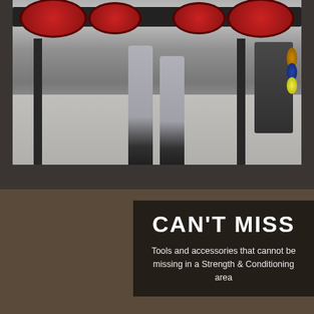[Figure (photo): A person performing a barbell squat in a gym. The lower half of the figure is visible, wearing grey pants and black sneakers, holding a loaded barbell with red weight plates. A power rack and additional equipment are visible in the background on a grey concrete floor.]
CAN'T MISS
Tools and accessories that cannot be missing in a Strength & Conditioning area